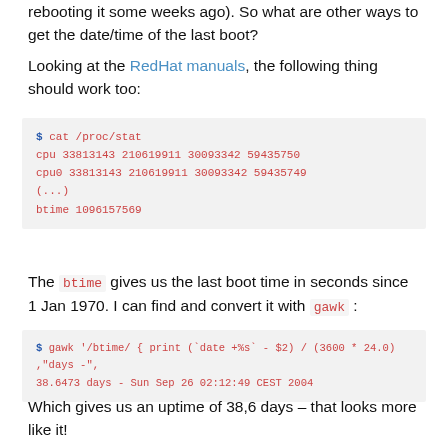rebooting it some weeks ago). So what are other ways to get the date/time of the last boot?
Looking at the RedHat manuals, the following thing should work too:
$ cat /proc/stat
cpu 33813143 210619911 30093342 59435750
cpu0 33813143 210619911 30093342 59435749
(...)
btime 1096157569
The btime gives us the last boot time in seconds since 1 Jan 1970. I can find and convert it with gawk :
$ gawk '/btime/ { print (`date +%s` - $2) / (3600 * 24.0) ,"days -",
38.6473 days - Sun Sep 26 02:12:49 CEST 2004
Which gives us an uptime of 38,6 days – that looks more like it!